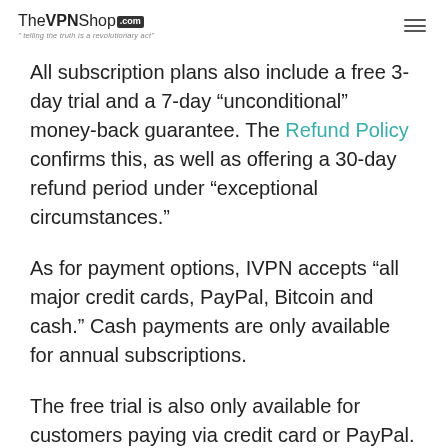TheVPNShop.com — "telling the truth is a revolutionary act"
All subscription plans also include a free 3-day trial and a 7-day “unconditional” money-back guarantee. The Refund Policy confirms this, as well as offering a 30-day refund period under “exceptional circumstances.”
As for payment options, IVPN accepts “all major credit cards, PayPal, Bitcoin and cash.” Cash payments are only available for annual subscriptions.
The free trial is also only available for customers paying via credit card or PayPal.